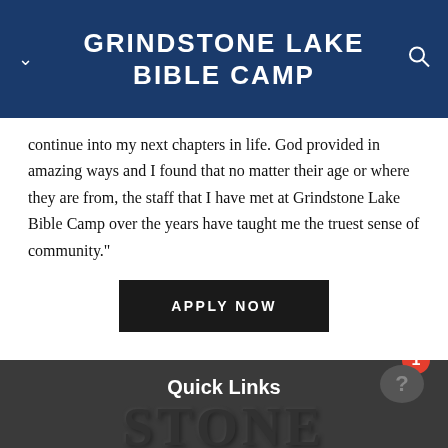GRINDSTONE LAKE BIBLE CAMP
continue into my next chapters in life. God provided in amazing ways and I found that no matter their age or where they are from, the staff that I have met at Grindstone Lake Bible Camp over the years have taught me the truest sense of community."
APPLY NOW
Quick Links
[Figure (logo): Partial watermark logo showing 'STONE' text in dark embossed style on dark background]